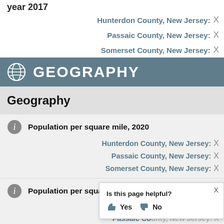year 2017
Hunterdon County, New Jersey: X
Passaic County, New Jersey: X
Somerset County, New Jersey: X
GEOGRAPHY
Geography
Population per square mile, 2020
Hunterdon County, New Jersey: X
Passaic County, New Jersey: X
Somerset County, New Jersey: X
Population per square mile, 2010
Hunterdon Co...
Passaic Co...
Is this page helpful? Yes No